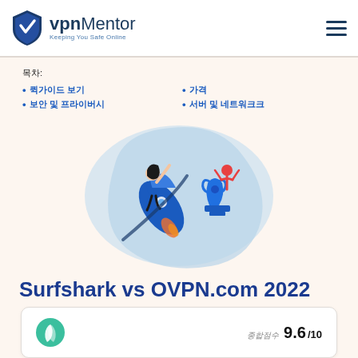vpnMentor – Keeping You Safe Online
목차:
퀵가이드 보기
가격
보안 및 프라이버시
서버 및 네트워크크
[Figure (illustration): Illustration of a woman in blue riding a rocket next to a blue trophy cup, on a light blue blob background]
Surfshark vs OVPN.com 2022
종합점수 9.6/10